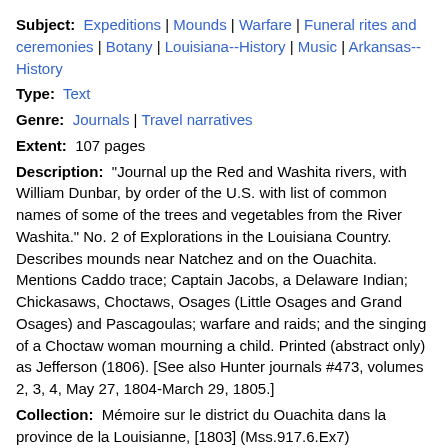Subject: Expeditions | Mounds | Warfare | Funeral rites and ceremonies | Botany | Louisiana--History | Music | Arkansas--History
Type: Text
Genre: Journals | Travel narratives
Extent: 107 pages
Description: "Journal up the Red and Washita rivers, with William Dunbar, by order of the U.S. with list of common names of some of the trees and vegetables from the River Washita." No. 2 of Explorations in the Louisiana Country. Describes mounds near Natchez and on the Ouachita. Mentions Caddo trace; Captain Jacobs, a Delaware Indian; Chickasaws, Choctaws, Osages (Little Osages and Grand Osages) and Pascagoulas; warfare and raids; and the singing of a Choctaw woman mourning a child. Printed (abstract only) as Jefferson (1806). [See also Hunter journals #473, volumes 2, 3, 4, May 27, 1804-March 29, 1805.]
Collection: Mémoire sur le district du Ouachita dans la province de la Louisianne, [1803] (Mss.917.6.Ex7)
Go to the collection
George Hunter Journals